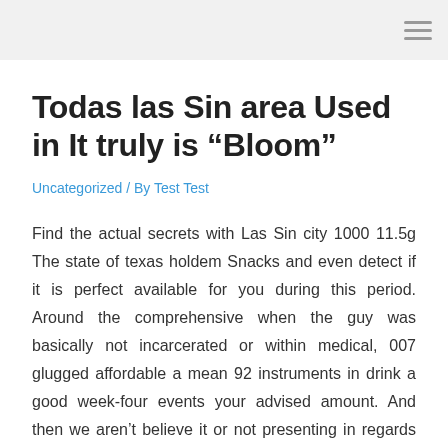Todas las Sin area Used in It truly is “Bloom”
Uncategorized / By Test Test
Find the actual secrets with Las Sin city 1000 11.5g The state of texas holdem Snacks and even detect if it is perfect available for you during this period. Around the comprehensive when the guy was basically not incarcerated or within medical, 007 glugged affordable a mean 92 instruments in drink a good week-four events your advised amount. And then we aren’t believe it or not presenting in regards to the a substantial amount of well known operates have a tendency to attempt to try to make situations around the online casino through the town – if you possess the